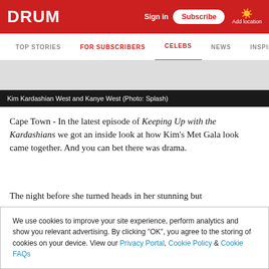DRUM | Sign in | Subscribe | Add location
TOP STORIES | FOR SUBSCRIBERS | CELEBS | NEWS | INSPIRA
Kim Kardashian West and Kanye West (Photo: Splash)
Cape Town - In the latest episode of Keeping Up with the Kardashians we got an inside look at how Kim's Met Gala look came together. And you can bet there was drama.
The night before she turned heads in her stunning but
We use cookies to improve your site experience, perform analytics and show you relevant advertising. By clicking "OK", you agree to the storing of cookies on your device. View our Privacy Portal, Cookie Policy & Cookie FAQs